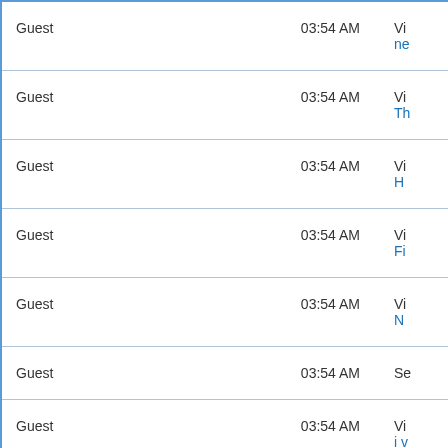| User | Time | Action |
| --- | --- | --- |
| Guest | 03:54 AM | Vi ne... |
| Guest | 03:54 AM | Vi Th... |
| Guest | 03:54 AM | Vi H... |
| Guest | 03:54 AM | Vi Fi... |
| Guest | 03:54 AM | Vi N... |
| Guest | 03:54 AM | Se... |
| Guest | 03:54 AM | Vi i v... |
| Guest | 03:54 AM | Vi Th... |